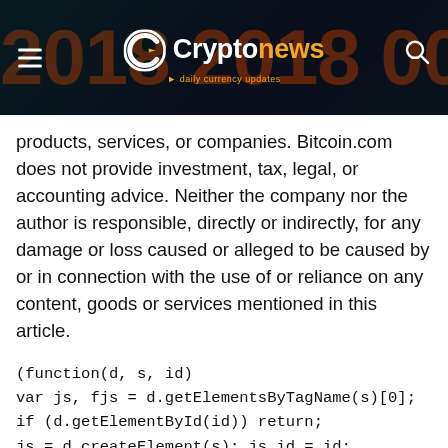[Figure (logo): Cryptonews website header with dark background showing orange numbers, hamburger menu on left, Cryptonews logo in center with orange C icon and tagline 'daily currency updates', search icon on right]
products, services, or companies. Bitcoin.com does not provide investment, tax, legal, or accounting advice. Neither the company nor the author is responsible, directly or indirectly, for any damage or loss caused or alleged to be caused by or in connection with the use of or reliance on any content, goods or services mentioned in this article.
(function(d, s, id)
var js, fjs = d.getElementsByTagName(s)[0];
if (d.getElementById(id)) return;
js = d.createElement(s); js.id = id;
js.src =
'https://connect.facebook.net/en_US/sdk.js#xfbml=1&version=v3.2';